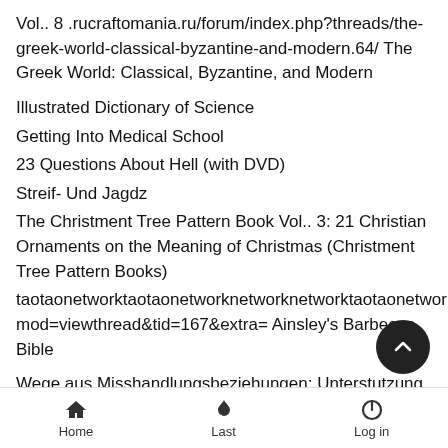Vol.. 8 .rucraftomania.ru/forum/index.php?threads/the-greek-world-classical-byzantine-and-modern.64/ The Greek World: Classical, Byzantine, and Modern
Illustrated Dictionary of Science
Getting Into Medical School
23 Questions About Hell (with DVD)
Streif- Und Jagdz
The Christment Tree Pattern Book Vol.. 3: 21 Christian Ornaments on the Meaning of Christmas (Christment Tree Pattern Books)
taotaonetworktaotaonetworknetworknetworktaotaonetworktaotaohhht.nmgsmw.com/bbs/upload/forum.php?mod=viewthread&tid=167&extra= Ainsley's Barbecue Bible
Wege aus Misshandlungsbeziehungen: Unterstutzung fur Frauen und ihre Kinder vor und nach dem Aufenthalt in einem
Home  Last  Log in